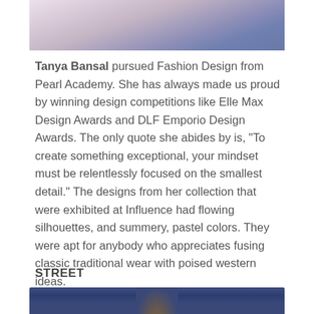[Figure (photo): Top portion of a photo showing a person wearing a light pink/lavender flowing dress against a blue background, cropped at the top of the page.]
Tanya Bansal pursued Fashion Design from Pearl Academy. She has always made us proud by winning design competitions like Elle Max Design Awards and DLF Emporio Design Awards. The only quote she abides by is, “To create something exceptional, your mindset must be relentlessly focused on the smallest detail.” The designs from her collection that were exhibited at Influence had flowing silhouettes, and summery, pastel colors. They were apt for anybody who appreciates fusing classic traditional wear with poised western ideas.
STREET
[Figure (photo): Bottom portion of a photo showing a person against a dark blue background, partially visible at the bottom of the page.]